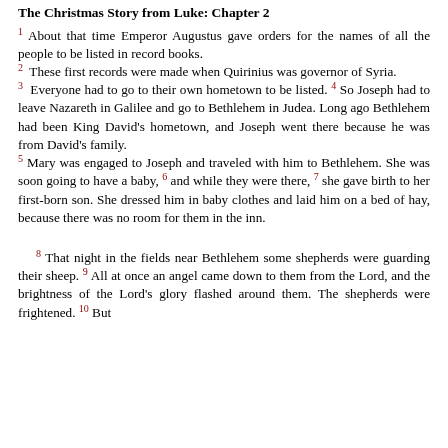The Christmas Story from Luke: Chapter 2
1 About that time Emperor Augustus gave orders for the names of all the people to be listed in record books. 2 These first records were made when Quirinius was governor of Syria. 3 Everyone had to go to their own hometown to be listed. 4 So Joseph had to leave Nazareth in Galilee and go to Bethlehem in Judea. Long ago Bethlehem had been King David's hometown, and Joseph went there because he was from David's family. 5 Mary was engaged to Joseph and traveled with him to Bethlehem. She was soon going to have a baby, 6 and while they were there, 7 she gave birth to her first-born son. She dressed him in baby clothes and laid him on a bed of hay, because there was no room for them in the inn. 8 That night in the fields near Bethlehem some shepherds were guarding their sheep. 9 All at once an angel came down to them from the Lord, and the brightness of the Lord's glory flashed around them. The shepherds were frightened. 10 But